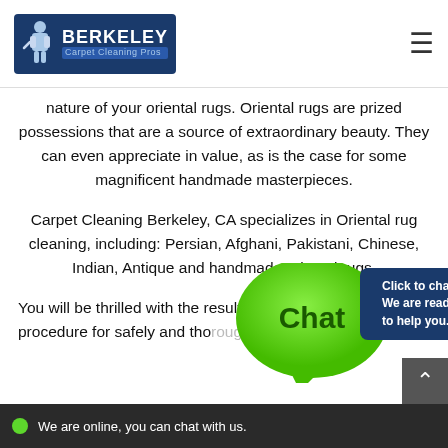Berkeley Carpet Cleaning Pros
nature of your oriental rugs. Oriental rugs are prized possessions that are a source of extraordinary beauty. They can even appreciate in value, as is the case for some magnificent handmade masterpieces.
Carpet Cleaning Berkeley, CA specializes in Oriental rug cleaning, including: Persian, Afghani, Pakistani, Chinese, Indian, Antique and handmade oriental rugs.
You will be thrilled with the results of our strong yet gentle procedure for safely and thoroughly cleaning your rugs.
An accurate inspection of your fine textile begins the cleaning process. Th...
[Figure (screenshot): Live chat widget with green chat bubble saying 'Chat' and dark blue panel showing 'Click to chat. We are ready to help you.' with X close button]
We are online, you can chat with us.